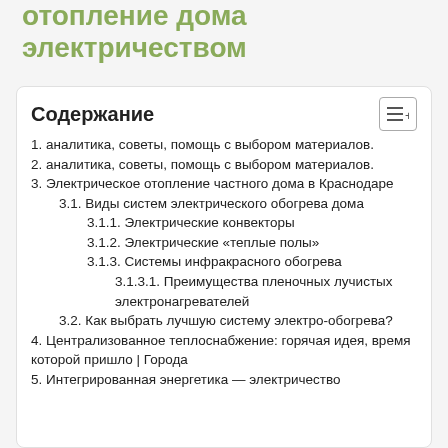отопление дома электричеством
Содержание
1. аналитика, советы, помощь с выбором материалов.
2. аналитика, советы, помощь с выбором материалов.
3. Электрическое отопление частного дома в Краснодаре
3.1. Виды систем электрического обогрева дома
3.1.1. Электрические конвекторы
3.1.2. Электрические «теплые полы»
3.1.3. Системы инфракрасного обогрева
3.1.3.1. Преимущества пленочных лучистых электронагревателей
3.2. Как выбрать лучшую систему электро-обогрева?
4. Централизованное теплоснабжение: горячая идея, время которой пришло | Города
5. Интегрированная энергетика — электричество